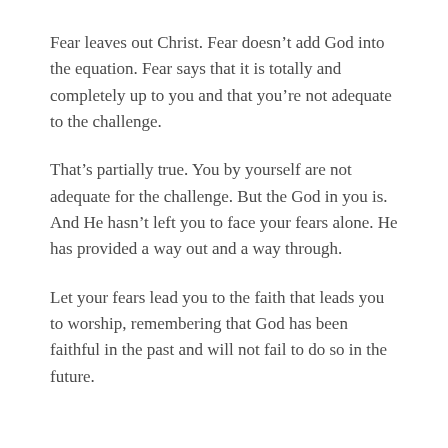Fear leaves out Christ. Fear doesn’t add God into the equation. Fear says that it is totally and completely up to you and that you’re not adequate to the challenge.
That’s partially true. You by yourself are not adequate for the challenge. But the God in you is. And He hasn’t left you to face your fears alone. He has provided a way out and a way through.
Let your fears lead you to the faith that leads you to worship, remembering that God has been faithful in the past and will not fail to do so in the future.